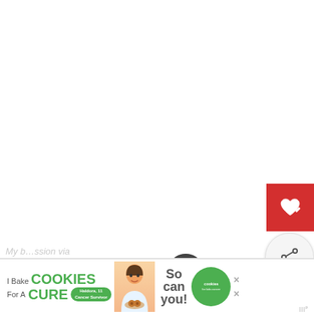[Figure (screenshot): White blank main content area of a webpage]
[Figure (other): Red heart/save button in top-right area]
[Figure (other): Grey share button with plus icon]
WHAT'S NEXT → BJ's Gas Prices
[Figure (photo): Thumbnail image of a dark interior scene (airplane or bus)]
My b...ssion via
[Figure (infographic): Ad banner: I Bake COOKIES For A CURE - Haldora, 11 Cancer Survivor - So can you! - cookies for kids cancer logo]